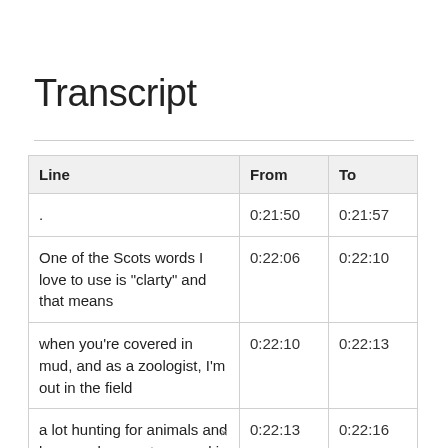Transcript
| Line | From | To |
| --- | --- | --- |
| . | 0:21:50 | 0:21:57 |
| One of the Scots words I love to use is "clarty" and that means | 0:22:06 | 0:22:10 |
| when you're covered in mud, and as a zoologist, I'm out in the field | 0:22:10 | 0:22:13 |
| a lot hunting for animals and bugs and you get covered in mud. | 0:22:13 | 0:22:16 |
×